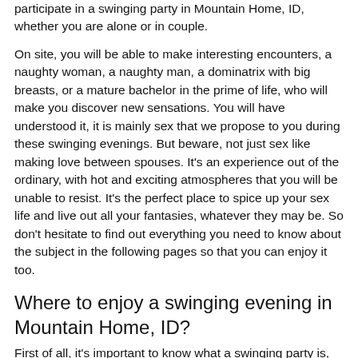participate in a swinging party in Mountain Home, ID, whether you are alone or in couple.
On site, you will be able to make interesting encounters, a naughty woman, a naughty man, a dominatrix with big breasts, or a mature bachelor in the prime of life, who will make you discover new sensations. You will have understood it, it is mainly sex that we propose to you during these swinging evenings. But beware, not just sex like making love between spouses. It's an experience out of the ordinary, with hot and exciting atmospheres that you will be unable to resist. It's the perfect place to spice up your sex life and live out all your fantasies, whatever they may be. So don't hesitate to find out everything you need to know about the subject in the following pages so that you can enjoy it too.
Where to enjoy a swinging evening in Mountain Home, ID?
First of all, it's important to know what a swinging party is, whether it's in Mountain Home, ID or in any other city in the world. Already you should know that the swinging lifestyle is a practice